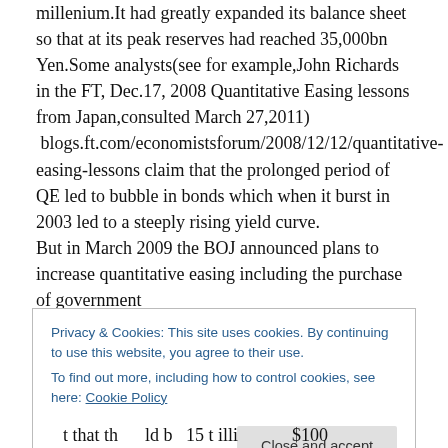millenium.It had greatly expanded its balance sheet so that at its peak reserves had reached 35,000bn Yen.Some analysts(see for example,John Richards in the FT, Dec.17, 2008 Quantitative Easing lessons from Japan,consulted March 27,2011)
 blogs.ft.com/economistsforum/2008/12/12/quantitative-easing-lessons claim that the prolonged period of QE led to bubble in bonds which when it burst in 2003 led to a steeply rising yield curve.
But in March 2009 the BOJ announced plans to increase quantitative easing including the purchase of government
Privacy & Cookies: This site uses cookies. By continuing to use this website, you agree to their use.
To find out more, including how to control cookies, see here: Cookie Policy
Close and accept
t that th ld b 15 t illi $100